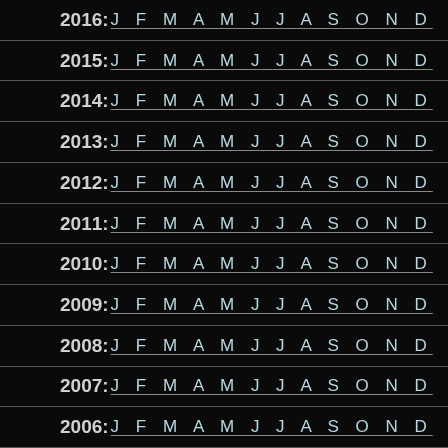2016: J F M A M J J A S O N D
2015: J F M A M J J A S O N D
2014: J F M A M J J A S O N D
2013: J F M A M J J A S O N D
2012: J F M A M J J A S O N D
2011: J F M A M J J A S O N D
2010: J F M A M J J A S O N D
2009: J F M A M J J A S O N D
2008: J F M A M J J A S O N D
2007: J F M A M J J A S O N D
2006: J F M A M J J A S O N D